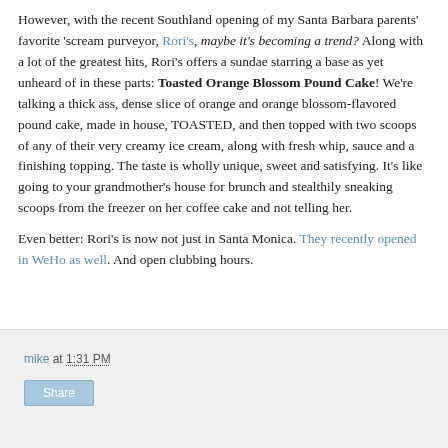However, with the recent Southland opening of my Santa Barbara parents' favorite 'scream purveyor, Rori's, maybe it's becoming a trend? Along with a lot of the greatest hits, Rori's offers a sundae starring a base as yet unheard of in these parts: Toasted Orange Blossom Pound Cake! We're talking a thick ass, dense slice of orange and orange blossom-flavored pound cake, made in house, TOASTED, and then topped with two scoops of any of their very creamy ice cream, along with fresh whip, sauce and a finishing topping. The taste is wholly unique, sweet and satisfying. It's like going to your grandmother's house for brunch and stealthily sneaking scoops from the freezer on her coffee cake and not telling her.
Even better: Rori's is now not just in Santa Monica. They recently opened in WeHo as well. And open clubbing hours.
mike at 1:31 PM
Share